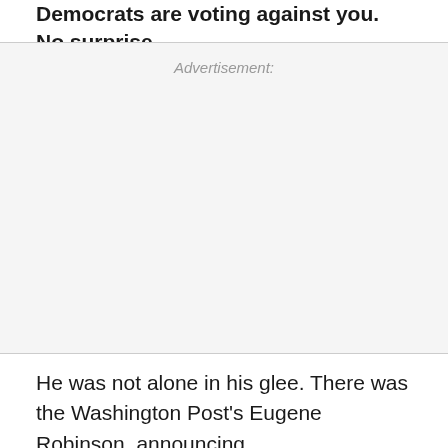Democrats are voting against you. No surprise.
Advertisement:
He was not alone in his glee. There was the Washington Post's Eugene Robinson, announcing